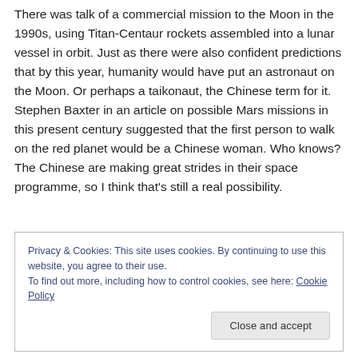There was talk of a commercial mission to the Moon in the 1990s, using Titan-Centaur rockets assembled into a lunar vessel in orbit. Just as there were also confident predictions that by this year, humanity would have put an astronaut on the Moon. Or perhaps a taikonaut, the Chinese term for it. Stephen Baxter in an article on possible Mars missions in this present century suggested that the first person to walk on the red planet would be a Chinese woman. Who knows? The Chinese are making great strides in their space programme, so I think that's still a real possibility.
Privacy & Cookies: This site uses cookies. By continuing to use this website, you agree to their use.
To find out more, including how to control cookies, see here: Cookie Policy